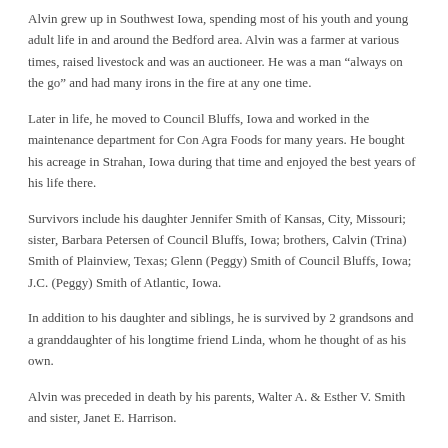Alvin grew up in Southwest Iowa, spending most of his youth and young adult life in and around the Bedford area. Alvin was a farmer at various times, raised livestock and was an auctioneer. He was a man “always on the go” and had many irons in the fire at any one time.
Later in life, he moved to Council Bluffs, Iowa and worked in the maintenance department for Con Agra Foods for many years. He bought his acreage in Strahan, Iowa during that time and enjoyed the best years of his life there.
Survivors include his daughter Jennifer Smith of Kansas, City, Missouri; sister, Barbara Petersen of Council Bluffs, Iowa; brothers, Calvin (Trina) Smith of Plainview, Texas; Glenn (Peggy) Smith of Council Bluffs, Iowa; J.C. (Peggy) Smith of Atlantic, Iowa.
In addition to his daughter and siblings, he is survived by 2 grandsons and a granddaughter of his longtime friend Linda, whom he thought of as his own.
Alvin was preceded in death by his parents, Walter A. & Esther V. Smith and sister, Janet E. Harrison.
No services are planned.  Private interment, Fairview Cemetery, Bedford, Iowa.
2 CONDOLENCES